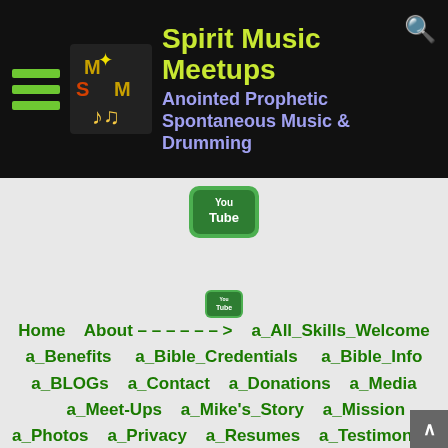Spirit Music Meetups — Anointed Prophetic Spontaneous Music & Drumming
[Figure (logo): YouTube logo icon large]
[Figure (logo): YouTube logo icon small]
Home   About – – – – – – >   a_All_Skills_Welcome   a_Benefits   a_Bible_Credentials   a_Bible_Info   a_BLOGs   a_Contact   a_Donations   a_Media   a_Meet-Ups   a_Mike's_Story   a_Mission   a_Photos   a_Privacy   a_Resumes   a_Testimonies   – – – – – – – – – – – – – – – Drum Lessons – – – >   dL_All_Skills_Welcome   dL_Advantages   dL_Credentials   dL_Locations   dL_Philosopy   dL_Rates   dL_Scheduling   dL_Testimonies   – – – – – – – – – – – – Drumming – – – >   d_Ear-Training   d_Figures   d_Fills   d_Fill-ins   d_Genres_Survey